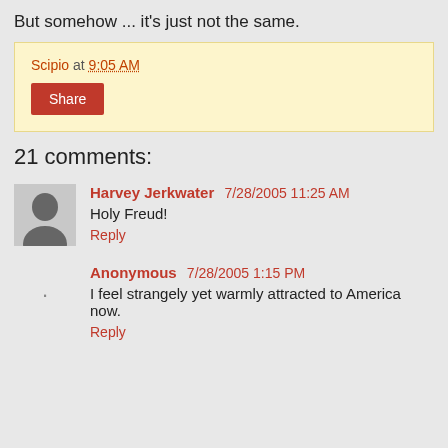But somehow ... it's just not the same.
Scipio at 9:05 AM
Share
21 comments:
Harvey Jerkwater 7/28/2005 11:25 AM
Holy Freud!
Reply
Anonymous 7/28/2005 1:15 PM
I feel strangely yet warmly attracted to America now.
Reply